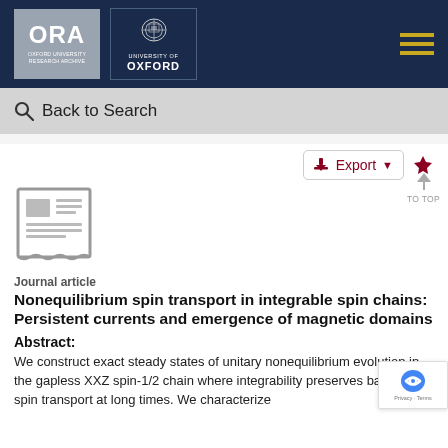[Figure (logo): Oxford University Research Archive (ORA) and University of Oxford logos on dark navy header bar]
Back to Search
[Figure (illustration): Journal article document icon (grey newspaper/document symbol)]
Journal article
Nonequilibrium spin transport in integrable spin chains: Persistent currents and emergence of magnetic domains
Abstract:
We construct exact steady states of unitary nonequilibrium evolution in the gapless XXZ spin-1/2 chain where integrability preserves ballistic spin transport at long times. We characterize